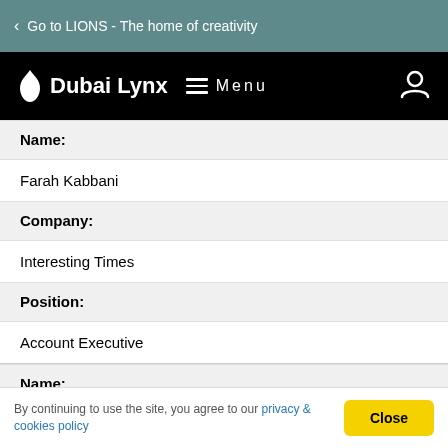Go to LIONS - The home of creativity
Dubai Lynx Menu
Name:
Farah Kabbani
Company:
Interesting Times
Position:
Account Executive
Name:
By continuing to use the site, you agree to our privacy & cookies policy